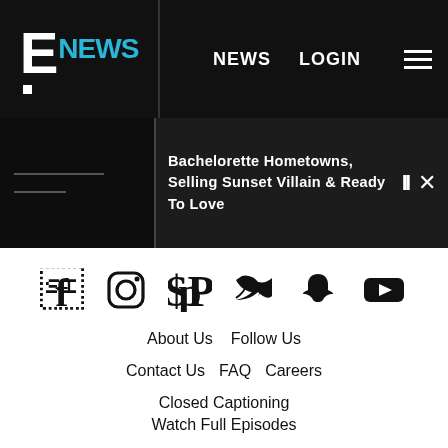E! NEWS | NEWS | LOGIN
Bachelorette Hometowns, Selling Sunset Villain & Ready To Love
[Figure (illustration): Social media icons row: Facebook, Instagram, Pinterest, Twitter, Snapchat, YouTube]
About Us
Follow Us
Contact Us
FAQ
Careers
Closed Captioning
Watch Full Episodes
Ad Choices
Sitemap
E! International TV Channels
Customer Support
People's Choice